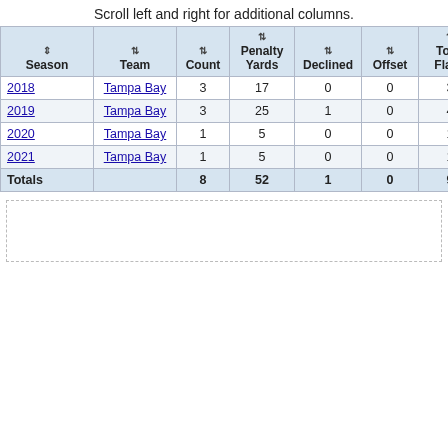Scroll left and right for additional columns.
| Season | Team | Count | Penalty Yards | Declined | Offset | Total Flags | Home | Away |
| --- | --- | --- | --- | --- | --- | --- | --- | --- |
| 2018 | Tampa Bay | 3 | 17 | 0 | 0 | 3 | 1 | 2 |
| 2019 | Tampa Bay | 3 | 25 | 1 | 0 | 4 | 1 | 3 |
| 2020 | Tampa Bay | 1 | 5 | 0 | 0 | 1 | 0 | 1 |
| 2021 | Tampa Bay | 1 | 5 | 0 | 0 | 1 | 1 | 0 |
| Totals |  | 8 | 52 | 1 | 0 | 9 | 3 | 6 |